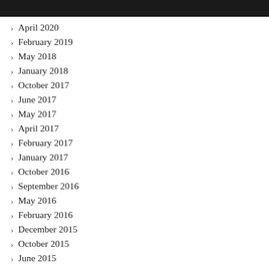April 2020
February 2019
May 2018
January 2018
October 2017
June 2017
May 2017
April 2017
February 2017
January 2017
October 2016
September 2016
May 2016
February 2016
December 2015
October 2015
June 2015
November 2014
October 2014
September 2014